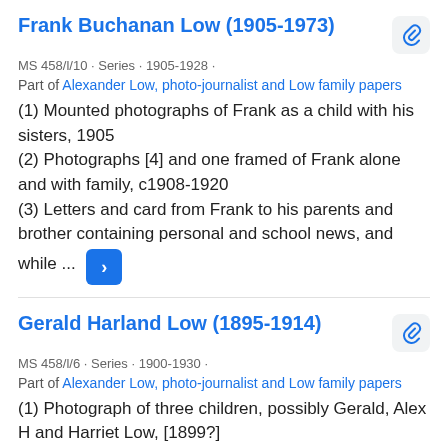Frank Buchanan Low (1905-1973)
MS 458/l/10 · Series · 1905-1928 ·
Part of Alexander Low, photo-journalist and Low family papers
(1) Mounted photographs of Frank as a child with his sisters, 1905
(2) Photographs [4] and one framed of Frank alone and with family, c1908-1920
(3) Letters and card from Frank to his parents and brother containing personal and school news, and while ...
Gerald Harland Low (1895-1914)
MS 458/l/6 · Series · 1900-1930 ·
Part of Alexander Low, photo-journalist and Low family papers
(1) Photograph of three children, possibly Gerald, Alex H and Harriet Low, [1899?]
(2) Letters with personal news from Gerald to his parents while at school, on holiday with his siblings